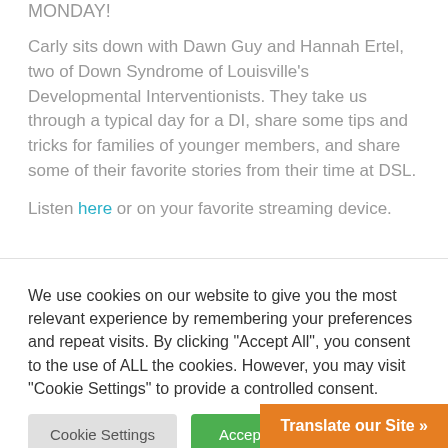MONDAY!
Carly sits down with Dawn Guy and Hannah Ertel, two of Down Syndrome of Louisville's Developmental Interventionists. They take us through a typical day for a DI, share some tips and tricks for families of younger members, and share some of their favorite stories from their time at DSL.
Listen here or on your favorite streaming device.
We use cookies on our website to give you the most relevant experience by remembering your preferences and repeat visits. By clicking "Accept All", you consent to the use of ALL the cookies. However, you may visit "Cookie Settings" to provide a controlled consent.
Cookie Settings
Accept All
Translate our Site »